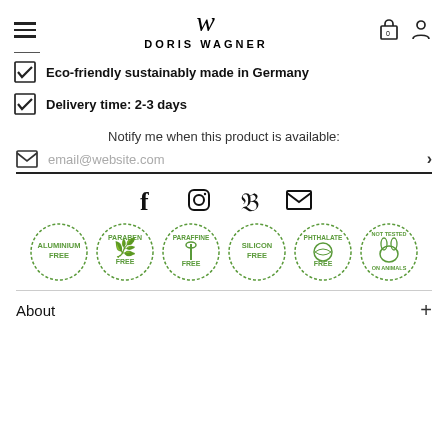DORIS WAGNER
Eco-friendly sustainably made in Germany
Delivery time: 2-3 days
Notify me when this product is available:
email@website.com
[Figure (infographic): Social media icons: Facebook, Instagram, Pinterest, Email]
[Figure (infographic): Six green circular badge stamps: Aluminium Free, Paraben Free, Paraffine Free, Silicon Free, Phthalate Free, Not Tested on Animals]
About